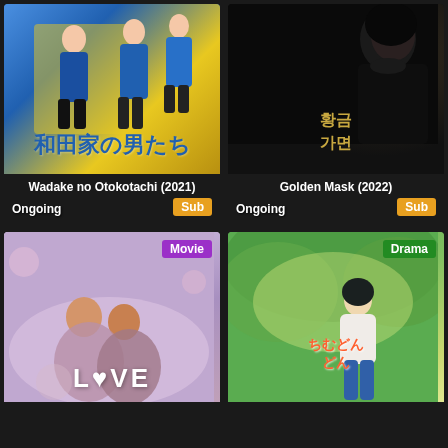[Figure (screenshot): Movie/drama streaming grid showing 4 thumbnails: Wadake no Otokotachi (2021) - Ongoing, Sub; Golden Mask (2022) - Ongoing, Sub; a Movie with LOVE text; and a Drama with Japanese text poster. Dark background grid layout.]
Wadake no Otokotachi (2021)
Golden Mask (2022)